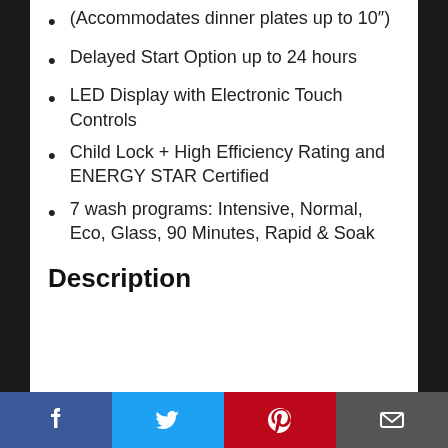(Accommodates dinner plates up to 10″)
Delayed Start Option up to 24 hours
LED Display with Electronic Touch Controls
Child Lock + High Efficiency Rating and ENERGY STAR Certified
7 wash programs: Intensive, Normal, Eco, Glass, 90 Minutes, Rapid & Soak
Description